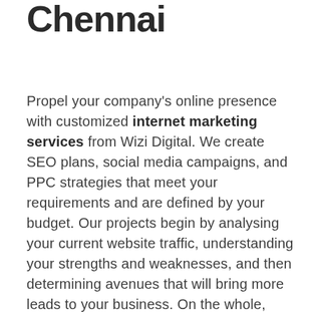Chennai
Propel your company's online presence with customized internet marketing services from Wizi Digital. We create SEO plans, social media campaigns, and PPC strategies that meet your requirements and are defined by your budget. Our projects begin by analysing your current website traffic, understanding your strengths and weaknesses, and then determining avenues that will bring more leads to your business. On the whole, we'll convert your visitors into customers.